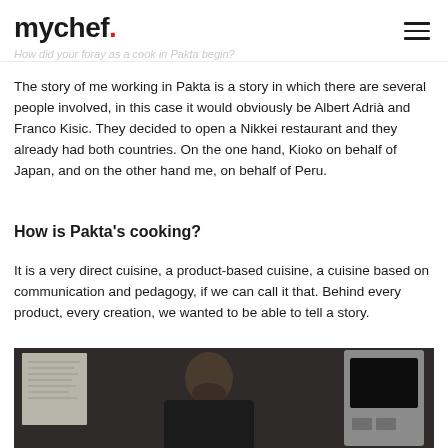mychef.
How did your foray as a cook in Pakta begin?
The story of me working in Pakta is a story in which there are several people involved, in this case it would obviously be Albert Adrià and Franco Kisic. They decided to open a Nikkei restaurant and they already had both countries. On the one hand, Kioko on behalf of Japan, and on the other hand me, on behalf of Peru.
How is Pakta's cooking?
It is a very direct cuisine, a product-based cuisine, a cuisine based on communication and pedagogy, if we can call it that. Behind every product, every creation, we wanted to be able to tell a story.
[Figure (photo): A bearded man in a dark chef uniform leaning over cooking equipment, with a whiteboard visible in the background on the left and a stainless steel appliance/oven on the right.]